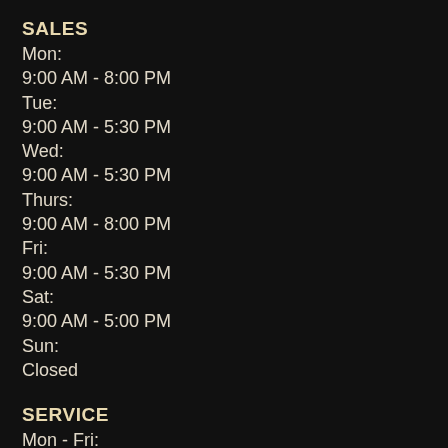SALES
Mon:
9:00 AM - 8:00 PM
Tue:
9:00 AM - 5:30 PM
Wed:
9:00 AM - 5:30 PM
Thurs:
9:00 AM - 8:00 PM
Fri:
9:00 AM - 5:30 PM
Sat:
9:00 AM - 5:00 PM
Sun:
Closed
SERVICE
Mon - Fri:
9:00 AM - 5:30 PM
Sat/Sun:
Closed